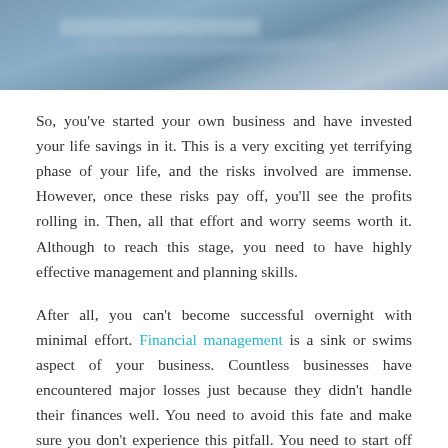[Figure (photo): Blurred blue-toned header image, likely a sky or outdoor scene]
So, you've started your own business and have invested your life savings in it. This is a very exciting yet terrifying phase of your life, and the risks involved are immense. However, once these risks pay off, you'll see the profits rolling in. Then, all that effort and worry seems worth it. Although to reach this stage, you need to have highly effective management and planning skills.
After all, you can't become successful overnight with minimal effort. Financial management is a sink or swims aspect of your business. Countless businesses have encountered major losses just because they didn't handle their finances well. You need to avoid this fate and make sure you don't experience this pitfall. You need to start off small and then grow with time. Initially, it will just be you, your Spectrum internet connection, and maybe one or two supporters. Once things take off, you can then focus on growing your business, but that too in a very controlled and organized manner. Therefore,